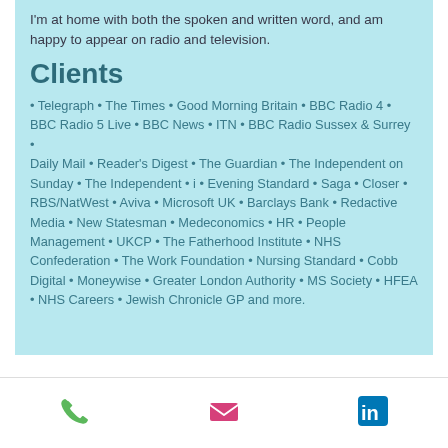I'm at home with both the spoken and written word, and am happy to appear on radio and television.
Clients
• Telegraph • The Times • Good Morning Britain • BBC Radio 4 • BBC Radio 5 Live • BBC News • ITN • BBC Radio Sussex & Surrey • Daily Mail • Reader's Digest • The Guardian • The Independent on Sunday • The Independent • i • Evening Standard • Saga • Closer • RBS/NatWest • Aviva • Microsoft UK • Barclays Bank • Redactive Media • New Statesman • Medeconomics • HR • People Management • UKCP • The Fatherhood Institute • NHS Confederation • The Work Foundation • Nursing Standard • Cobb Digital • Moneywise • Greater London Authority • MS Society • HFEA • NHS Careers • Jewish Chronicle GP and more.
[Figure (infographic): Footer with three icons: green phone icon, pink/magenta email envelope icon, and blue LinkedIn 'in' icon]